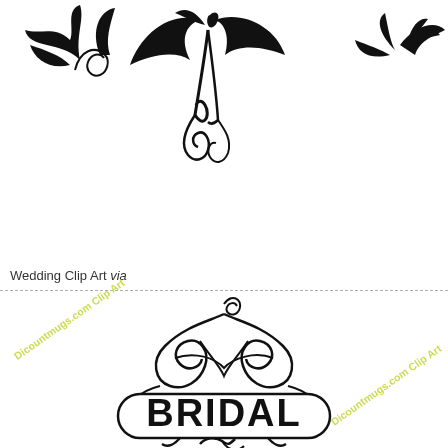[Figure (illustration): Wedding clip art illustration showing decorative floral/dove motifs in black on white background, top portion of the page]
Wedding Clip Art via
[Figure (illustration): Bridal shower clip art with ornate swirl flourish design and a rounded rectangle banner reading BRIDAL in bold black letters, with additional scrollwork below]